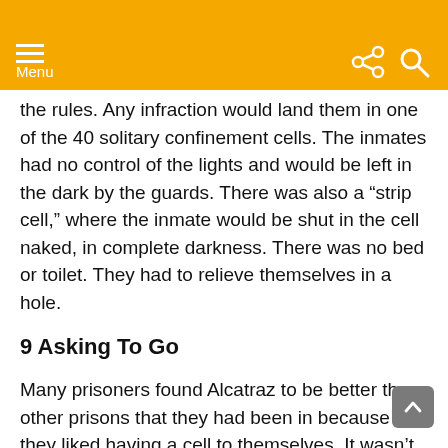Menu
the rules. Any infraction would land them in one of the 40 solitary confinement cells. The inmates had no control of the lights and would be left in the dark by the guards. There was also a “strip cell,” where the inmate would be shut in the cell naked, in complete darkness. There was no bed or toilet. They had to relieve themselves in a hole.
9 Asking To Go
Many prisoners found Alcatraz to be better than other prisons that they had been in because they liked having a cell to themselves. It wasn’t comfortable there; however. Everything beyond the barest